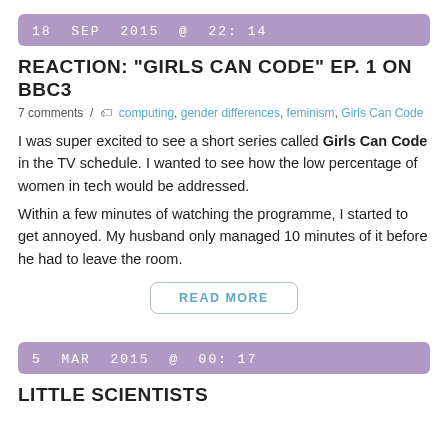18 SEP 2015 @ 22: 14
REACTION: "GIRLS CAN CODE" EP. 1 ON BBC3
7 comments  /  computing, gender differences, feminism, Girls Can Code
I was super excited to see a short series called Girls Can Code in the TV schedule. I wanted to see how the low percentage of women in tech would be addressed.
Within a few minutes of watching the programme, I started to get annoyed. My husband only managed 10 minutes of it before he had to leave the room.
READ MORE
5 MAR 2015 @ 00: 17
LITTLE SCIENTISTS